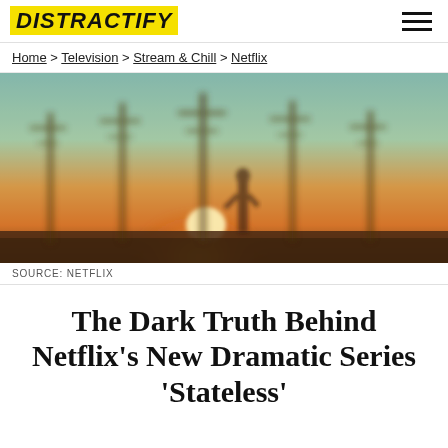DISTRACTIFY
Home > Television > Stream & Chill > Netflix
[Figure (photo): Blurred outdoor scene at sunset showing silhouettes of tall poles or towers against a warm orange and teal sky, with a bright sun low on the horizon and a lone figure in the background.]
SOURCE: NETFLIX
The Dark Truth Behind Netflix's New Dramatic Series 'Stateless'